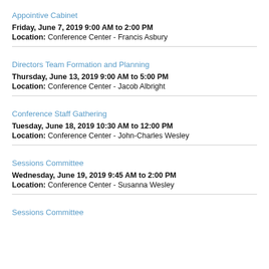Appointive Cabinet
Friday, June 7, 2019 9:00 AM to 2:00 PM
Location: Conference Center - Francis Asbury
Directors Team Formation and Planning
Thursday, June 13, 2019 9:00 AM to 5:00 PM
Location: Conference Center - Jacob Albright
Conference Staff Gathering
Tuesday, June 18, 2019 10:30 AM to 12:00 PM
Location: Conference Center - John-Charles Wesley
Sessions Committee
Wednesday, June 19, 2019 9:45 AM to 2:00 PM
Location: Conference Center - Susanna Wesley
Sessions Committee